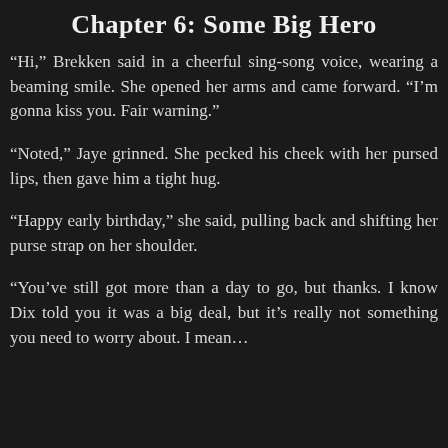Chapter 6: Some Big Hero
“Hi,” Brekken said in a cheerful sing-song voice, wearing a beaming smile. She opened her arms and came forward. “I’m gonna kiss you. Fair warning.”
“Noted,” Jaye grinned. She pecked his cheek with her pursed lips, then gave him a tight hug.
“Happy early birthday,” she said, pulling back and shifting her purse strap on her shoulder.
“You’ve still got more than a day to go, but thanks. I know Dix told you it was a big deal, but it’s really not something you need to worry about. I mean…